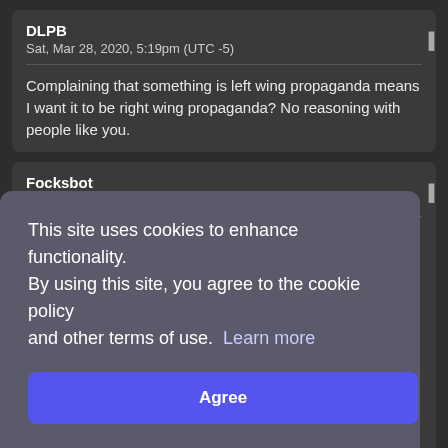DLPB
Sat, Mar 28, 2020, 5:19pm (UTC -5)
Complaining that something is left wing propaganda means I want it to be right wing propaganda? No reasoning with people like you.
Focksbot
Mon, May 11, 2020, 12:42pm (UTC -5)
@DLPB:
This site uses cookies to enhance functionality. By using this site, you agree to the cookie policy and other terms of use.  Learn more
Agree